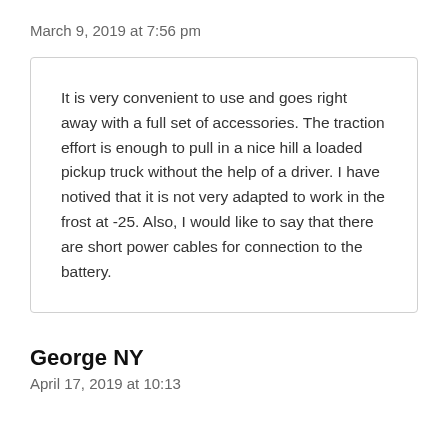March 9, 2019 at 7:56 pm
It is very convenient to use and goes right away with a full set of accessories. The traction effort is enough to pull in a nice hill a loaded pickup truck without the help of a driver. I have notived that it is not very adapted to work in the frost at -25. Also, I would like to say that there are short power cables for connection to the battery.
George NY
April 17, 2019 at 10:13